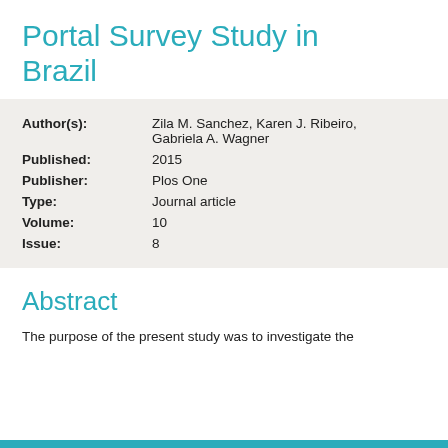Portal Survey Study in Brazil
| Field | Value |
| --- | --- |
| Author(s): | Zila M. Sanchez, Karen J. Ribeiro, Gabriela A. Wagner |
| Published: | 2015 |
| Publisher: | Plos One |
| Type: | Journal article |
| Volume: | 10 |
| Issue: | 8 |
Abstract
The purpose of the present study was to investigate the